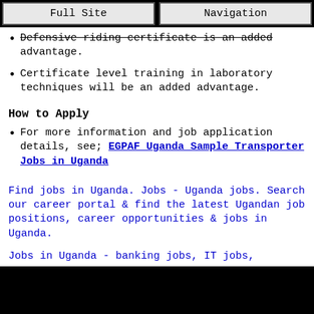Full Site | Navigation
Defensive riding certificate is an added advantage.
Certificate level training in laboratory techniques will be an added advantage.
How to Apply
For more information and job application details, see; EGPAF Uganda Sample Transporter Jobs in Uganda
Find jobs in Uganda. Jobs - Uganda jobs. Search our career portal & find the latest Ugandan job positions, career opportunities & jobs in Uganda.
Jobs in Uganda - banking jobs, IT jobs,